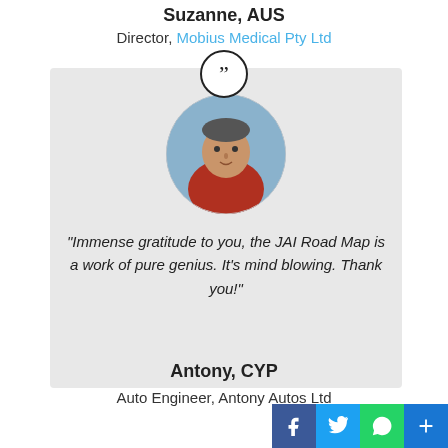Suzanne, AUS
Director, Mobius Medical Pty Ltd
[Figure (photo): Circular portrait photo of a man wearing a red jacket, outdoors]
“Immense gratitude to you, the JAI Road Map is a work of pure genius. It’s mind blowing. Thank you!”
Antony, CYP
Auto Engineer, Antony Autos Ltd